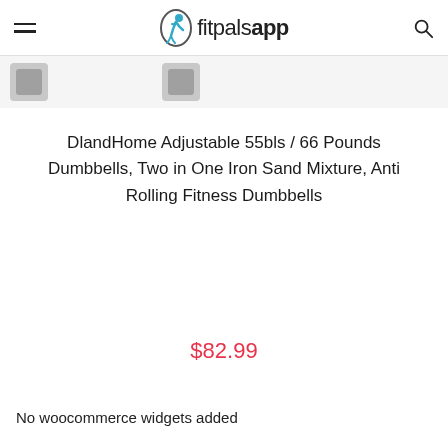fitpalsapp
[Figure (screenshot): Two small grey thumbnail images partially visible in a strip below the header]
DlandHome Adjustable 55bls / 66 Pounds Dumbbells, Two in One Iron Sand Mixture, Anti Rolling Fitness Dumbbells
$82.99
No woocommerce widgets added